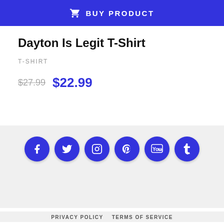[Figure (other): Blue 'BUY PRODUCT' button bar with shopping cart icon]
Dayton Is Legit T-Shirt
T-SHIRT
$27.99  $22.99
[Figure (other): Social media icon buttons: Facebook, Twitter, Instagram, Pinterest, YouTube, Tumblr]
PRIVACY POLICY    TERMS OF SERVICE